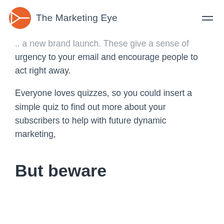The Marketing Eye
...to a new brand launch. These give a sense of urgency to your email and encourage people to act right away.
Everyone loves quizzes, so you could insert a simple quiz to find out more about your subscribers to help with future dynamic marketing,
But beware